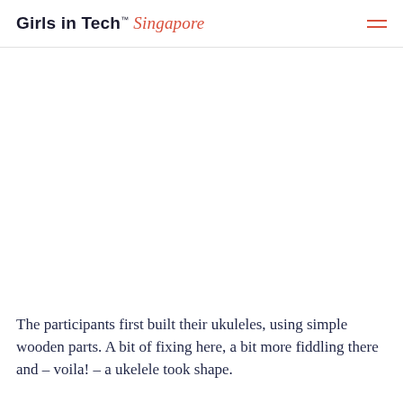Girls in Tech™ Singapore
The participants first built their ukuleles, using simple wooden parts. A bit of fixing here, a bit more fiddling there and – voila! – a ukelele took shape.
[Figure (photo): Broken image placeholder at bottom of page]